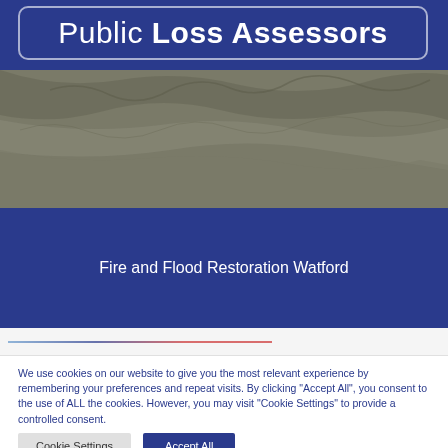Public Loss Assessors
Fire and Flood Restoration Watford
[Figure (screenshot): Partially visible navigation bar with blue and red text elements]
We use cookies on our website to give you the most relevant experience by remembering your preferences and repeat visits. By clicking "Accept All", you consent to the use of ALL the cookies. However, you may visit "Cookie Settings" to provide a controlled consent.
Cookie Settings
Accept All